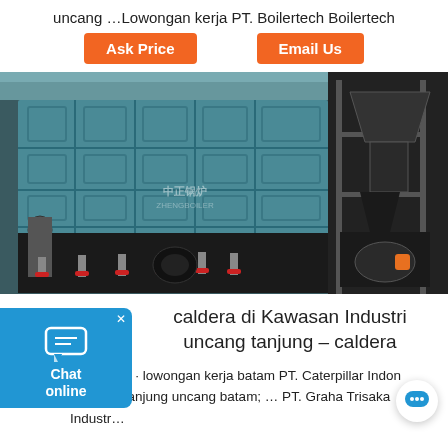uncang …Lowongan kerja PT. Boilertech Boilertech
Ask Price
Email Us
[Figure (photo): Industrial boiler installation inside a factory — large teal/blue metal boiler panels on the left, black machinery and scaffolding on the right, with red-handled valves along the bottom.]
caldera di Kawasan Industri uncang tanjung – caldera
2016-7-20 · lowongan kerja batam PT. Caterpillar Indon loker PT tanjung uncang batam; … PT. Graha Trisaka Industr…